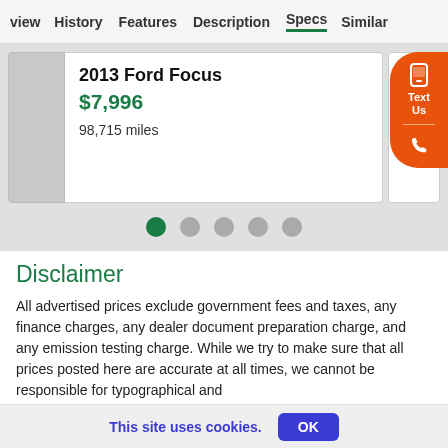view  History  Features  Description  Specs  Similar
2013 Ford Focus
$7,996
98,715 miles
[Figure (screenshot): Carousel pagination dots: one green active dot followed by four grey dots]
Disclaimer
All advertised prices exclude government fees and taxes, any finance charges, any dealer document preparation charge, and any emission testing charge. While we try to make sure that all prices posted here are accurate at all times, we cannot be responsible for typographical and
This site uses cookies.
OK